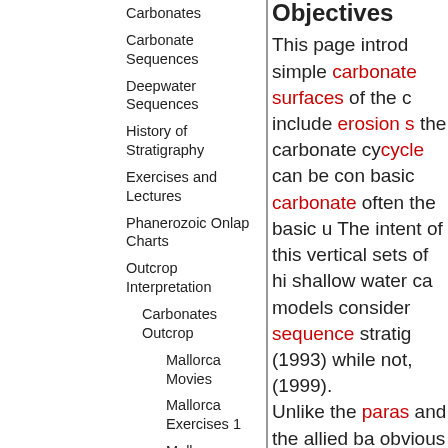Carbonates
Carbonate Sequences
Deepwater Sequences
History of Stratigraphy
Exercises and Lectures
Phanerozoic Onlap Charts
Outcrop Interpretation
Carbonates Outcrop
Mallorca Movies
Mallorca Exercises 1
Mallorca Exercises
Objectives
This page introduces simple carbonate surfaces of the c include erosion s the carbonate cy cycle can be com basic carbonate often the basic u The intent of this vertical sets of hi shallow water ca models consider sequence stratig (1993) while not, (1999). Unlike the paras and the allied ba obvious marine f product of sea le downdip). Never cosets, match pa succession of ge process/product by stacked sigm patterns of stack